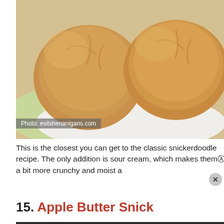[Figure (photo): Two golden snickerdoodle cookies on a white plate with a green patterned napkin underneath]
Photo: evilshenanigans.com
This is the closest you can get to the classic snickerdoodle recipe. The only addition is sour cream, which makes them a bit more crunchy and moist a
15. Apple Butter Snick
[Figure (photo): Dark close-up photo of cookie dough balls on a baking sheet]
[Figure (photo): IHOP advertisement showing a stack of pancakes with butter on top, with IHOP logo and a play button overlay, and a CLOSE button at the bottom]